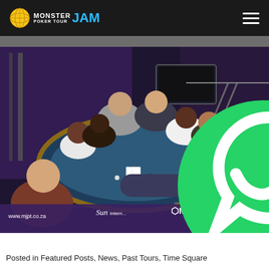Monster Poker Tour JAM
[Figure (photo): Group of people seated and standing around a round blue poker table in an indoor casino/poker room setting. The table has 'Card Stream' and 'MonsterJam' branding. The room has purple/blue ambient lighting, steel truss structures, and a TV screen in the background. Bottom of image shows website www.mjpt.co.za, Sun International logo, MonsterJam logo, and a WhatsApp chat widget saying 'How can I help you?']
Posted in Featured Posts, News, Past Tours, Time Square